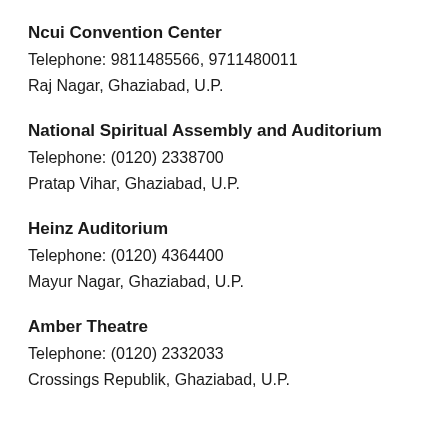Ncui Convention Center
Telephone: 9811485566, 9711480011
Raj Nagar, Ghaziabad, U.P.
National Spiritual Assembly and Auditorium
Telephone: (0120) 2338700
Pratap Vihar, Ghaziabad, U.P.
Heinz Auditorium
Telephone: (0120) 4364400
Mayur Nagar, Ghaziabad, U.P.
Amber Theatre
Telephone: (0120) 2332033
Crossings Republik, Ghaziabad, U.P.